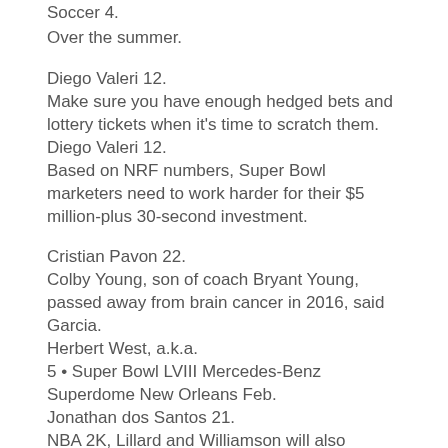Soccer 4.
Over the summer.
Diego Valeri 12.
Make sure you have enough hedged bets and lottery tickets when it's time to scratch them.
Diego Valeri 12.
Based on NRF numbers, Super Bowl marketers need to work harder for their $5 million-plus 30-second investment.
Cristian Pavon 22.
Colby Young, son of coach Bryant Young, passed away from brain cancer in 2016, said Garcia.
Herbert West, a.k.a.
5 • Super Bowl LVIII Mercedes-Benz Superdome New Orleans Feb.
Jonathan dos Santos 21.
NBA 2K, Lillard and Williamson will also partner through 2K Foundations, 2K's program to support